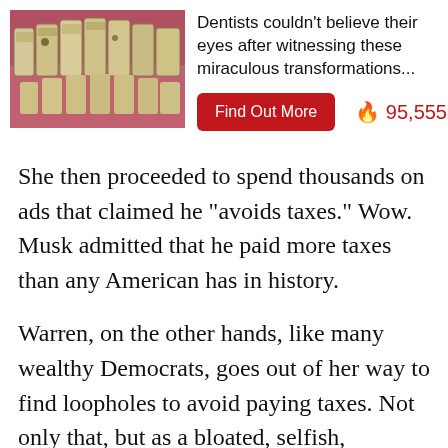[Figure (photo): Close-up photo of discolored, unhealthy teeth with plaque and gum issues]
Dentists couldn't believe their eyes after witnessing these miraculous transformations...
Find Out More
🔥 95,555
She then proceeded to spend thousands on ads that claimed he “avoids taxes.” Wow. Musk admitted that he paid more taxes than any American has in history.
Warren, on the other hands, like many wealthy Democrats, goes out of her way to find loopholes to avoid paying taxes. Not only that, but as a bloated, selfish, egotistical D.C. politician, she does nothing